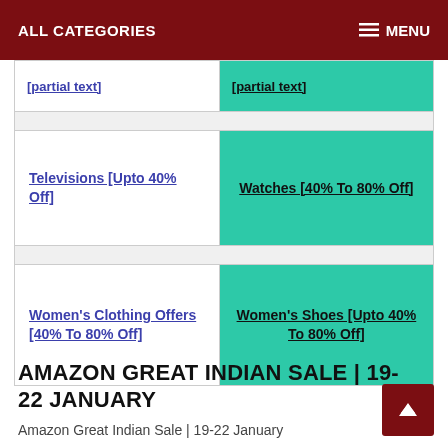ALL CATEGORIES   MENU
Televisions [Upto 40% Off]
Watches [40% To 80% Off]
Women's Clothing Offers [40% To 80% Off]
Women's Shoes [Upto 40% To 80% Off]
AMAZON GREAT INDIAN SALE | 19-22 JANUARY
Amazon Great Indian Sale | 19-22 January